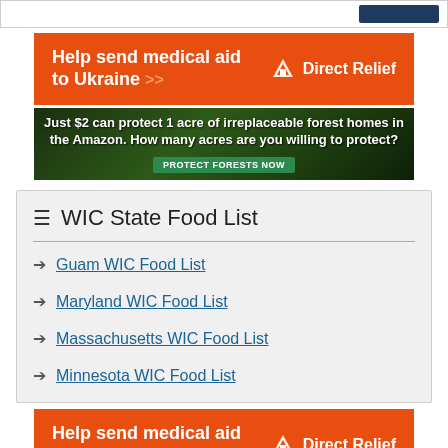[Figure (other): Top navigation bar with dark blue button on right]
[Figure (other): Direct Relief orange advertisement banner: Help send medical aid to Ukraine with Direct Relief logo]
[Figure (other): Amazon forest conservation green advertisement banner: Just $2 can protect 1 acre of irreplaceable forest homes in the Amazon. How many acres are you willing to protect? PROTECT FORESTS NOW]
WIC State Food List
Guam WIC Food List
Maryland WIC Food List
Massachusetts WIC Food List
Minnesota WIC Food List
[Figure (other): Direct Relief orange advertisement banner bottom: Help send medical aid to Ukraine with Direct Relief logo]